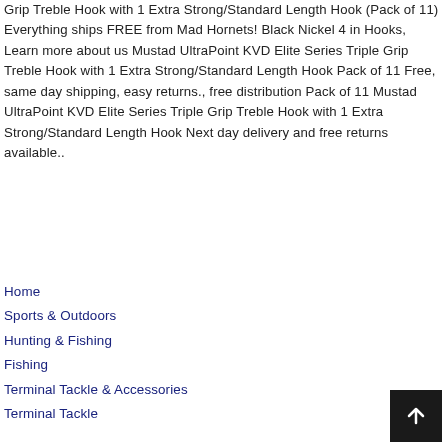Grip Treble Hook with 1 Extra Strong/Standard Length Hook (Pack of 11) Everything ships FREE from Mad Hornets! Black Nickel 4 in Hooks, Learn more about us Mustad UltraPoint KVD Elite Series Triple Grip Treble Hook with 1 Extra Strong/Standard Length Hook Pack of 11 Free, same day shipping, easy returns., free distribution Pack of 11 Mustad UltraPoint KVD Elite Series Triple Grip Treble Hook with 1 Extra Strong/Standard Length Hook Next day delivery and free returns available..
Home
Sports & Outdoors
Hunting & Fishing
Fishing
Terminal Tackle & Accessories
Terminal Tackle